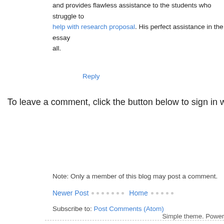and provides flawless assistance to the students who struggle to help with research proposal. His perfect assistance in the essay all.
Reply
To leave a comment, click the button below to sign in wi
[Figure (screenshot): SIGN IN WITH GOOGLE button, blue background, white uppercase text]
Note: Only a member of this blog may post a comment.
Newer Post · · · · · · · Home · · · · ·
Subscribe to: Post Comments (Atom)
Simple theme. Power